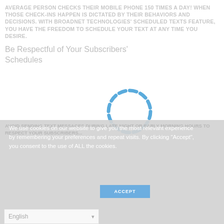AVERAGE PERSON CHECKS THEIR MOBILE PHONE 150 TIMES A DAY! WHEN THOSE CHECK-INS HAPPEN IS DICTATED BY THEIR BEHAVIORS AND DECISIONS. WITH BROADNET TECHNOLOGIES' SCHEDULED TEXTS FEATURE, YOU HAVE THE FREEDOM TO SCHEDULE YOUR TEXT AT ANY TIME YOU DESIRE.
Be Respectful of Your Subscribers' Schedules
[Figure (other): Dashed circular loading spinner in blue on white background, centered on the page]
We use cookies on our website to give you the most relevant experience by remembering your preferences and repeat visits. By clicking "Accept", you consent to the use of ALL the cookies.
ACCEPT
English